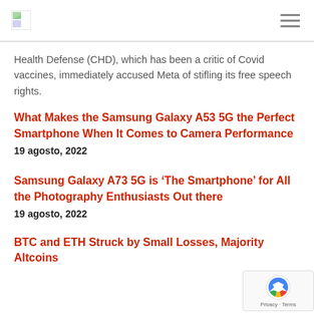[logo] [hamburger menu]
Health Defense (CHD), which has been a critic of Covid vaccines, immediately accused Meta of stifling its free speech rights.
What Makes the Samsung Galaxy A53 5G the Perfect Smartphone When It Comes to Camera Performance
19 agosto, 2022
Samsung Galaxy A73 5G is ‘The Smartphone’ for All the Photography Enthusiasts Out there
19 agosto, 2022
BTC and ETH Struck by Small Losses, Majority Altcoins